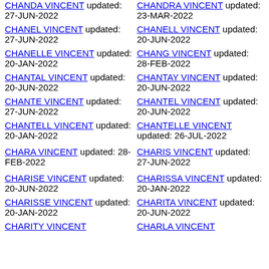CHANDA VINCENT updated: 27-JUN-2022
CHANEL VINCENT updated: 27-JUN-2022
CHANELLE VINCENT updated: 20-JAN-2022
CHANTAL VINCENT updated: 20-JUN-2022
CHANTE VINCENT updated: 27-JUN-2022
CHANTELL VINCENT updated: 20-JAN-2022
CHARA VINCENT updated: 28-FEB-2022
CHARISE VINCENT updated: 20-JUN-2022
CHARISSE VINCENT updated: 20-JAN-2022
CHARITY VINCENT
CHANDRA VINCENT updated: 23-MAR-2022
CHANELL VINCENT updated: 20-JUN-2022
CHANG VINCENT updated: 28-FEB-2022
CHANTAY VINCENT updated: 20-JUN-2022
CHANTEL VINCENT updated: 20-JUN-2022
CHANTELLE VINCENT updated: 26-JUL-2022
CHARIS VINCENT updated: 27-JUN-2022
CHARISSA VINCENT updated: 20-JAN-2022
CHARITA VINCENT updated: 20-JUN-2022
CHARLA VINCENT